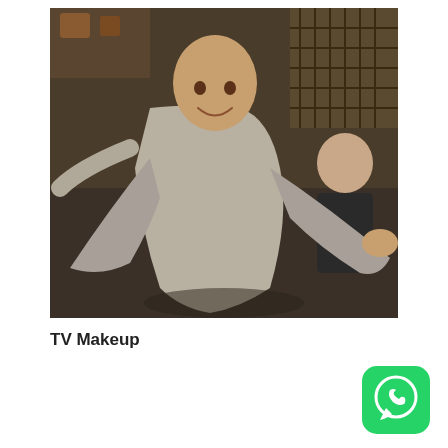[Figure (photo): A young man in traditional Chinese gray robes in a martial arts pose with arms spread wide, in an interior setting that appears to be a Chinese period drama. Another man in dark robes sits in the background watching.]
TV Makeup
[Figure (logo): WhatsApp logo — green rounded square with white phone handset icon inside a speech bubble]